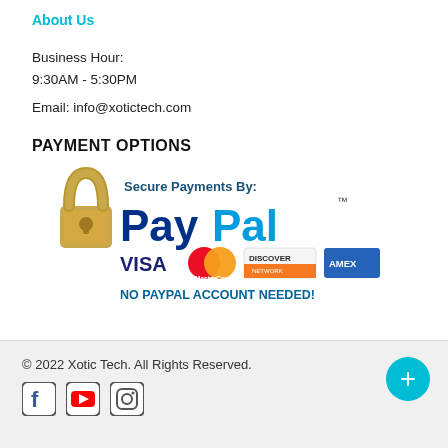About Us
Business Hour:
9:30AM - 5:30PM
Email: info@xotictech.com
PAYMENT OPTIONS
[Figure (logo): PayPal secure payments badge with lock icon, Visa, MasterCard, Discover, American Express logos and text 'NO PAYPAL ACCOUNT NEEDED!']
© 2022 Xotic Tech. All Rights Reserved.
[Figure (illustration): Social media icons: Facebook, YouTube, Instagram]